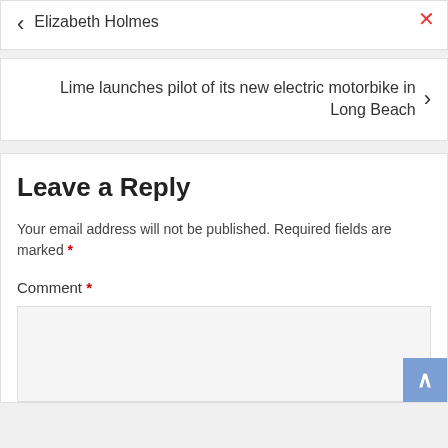< Elizabeth Holmes
Lime launches pilot of its new electric motorbike in Long Beach >
Leave a Reply
Your email address will not be published. Required fields are marked *
Comment *